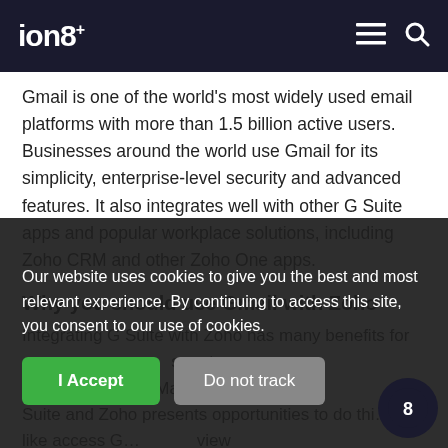ion8+
Gmail is one of the world's most widely used email platforms with more than 1.5 billion active users. Businesses around the world use Gmail for its simplicity, enterprise-level security and advanced features. It also integrates well with other G Suite apps and popular workplace solutions, including Zoho CRM and other Zoho One apps.
Why you should use Gmail with Zoho
Integrating G Suite with Zoho has many benefits for … smarter than ever before. Marrying G Suite and Zoho presents opportunities to do things like access Gmail from … view Gmail conversations with …
Our website uses cookies to give you the best and most relevant experience. By continuing to access this site, you consent to our use of cookies.